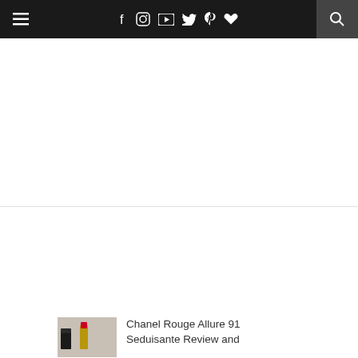Navigation bar with menu, social icons (f, Instagram, YouTube, Twitter, Pinterest, heart), and search
MOST POPULAR POST
Chanel Rouge Allure 91 Seduisante Review and